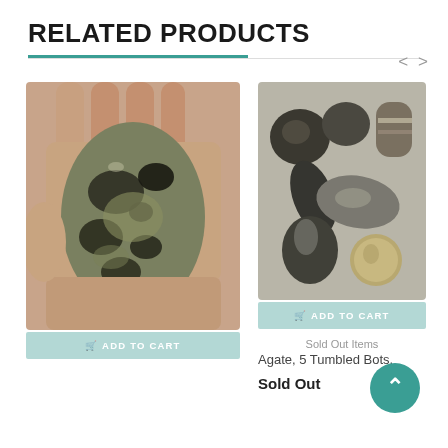RELATED PRODUCTS
[Figure (photo): Hand holding a dark greenish-gray polished stone/mineral specimen with mottled black and yellow-green patterns]
ADD TO CART
[Figure (photo): Five tumbled gray/dark agate stones arranged with a coin for size reference on a light background]
ADD TO CART
Sold Out Items
Agate, 5 Tumbled Bots.
Sold Out